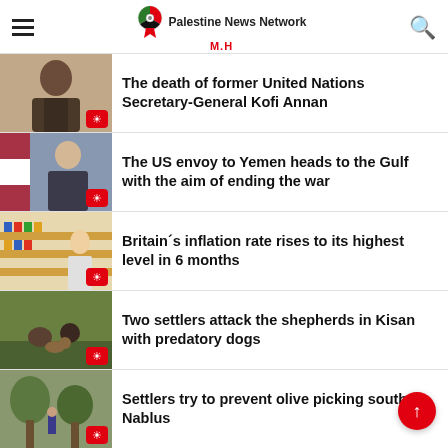Palestine News Network M.H
The death of former United Nations Secretary-General Kofi Annan
The US envoy to Yemen heads to the Gulf with the aim of ending the war
Britain´s inflation rate rises to its highest level in 6 months
Two settlers attack the shepherds in Kisan with predatory dogs
Settlers try to prevent olive picking south Nablus